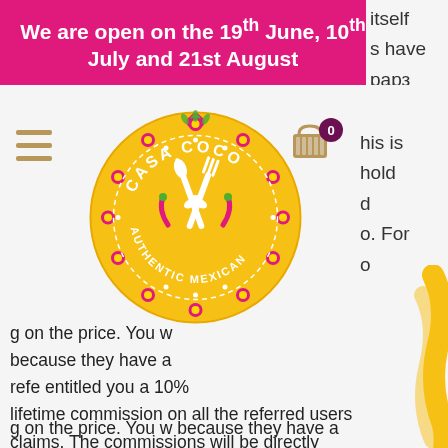We are open on the 19th June, 10th July and 21st August
[Figure (logo): Casa Coco Authentic Mexican restaurant circular logo in yellow/gold with floral decorations, crossed fork and spoon, and chili peppers]
g on the price. You w because they have a refe entitled you a 10% lifetime commission on all the referred users claims. The commissions will be directly added to your balance, битстарз казино зеркало на сегодня. Till now, it has paid over $450,000 to its members, битстарз казино официальный сайт зеркало. It gives you various ways to earn thousands of bitcoin such as by completing offers, installing games, downloading apps, taking surveys, viewing websites for short periods of time, playing fun games, and playing the